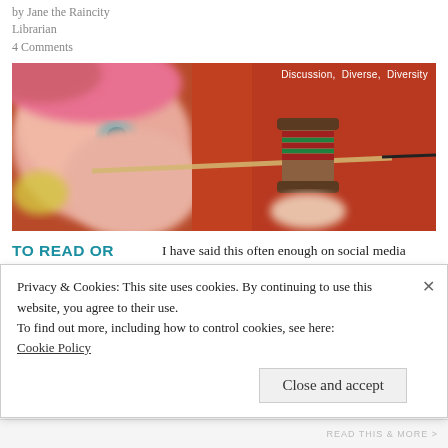by Jane the Raincity Librarian
4 Comments
[Figure (photo): Close-up blurred photo of a person with pink/red hair holding a pencil and a cylindrical object wrapped in red/maroon string, with tags: Discussion, Diverse, Diversity]
TO READ OR NOT TO READ: A MATTER OF CHOICE
I have said this often enough on social media (Twitter in particular) that I am a very selective reader. I research before I read. Some disciplines treat the book as [...]
Privacy & Cookies: This site uses cookies. By continuing to use this website, you agree to their use.
To find out more, including how to control cookies, see here:
Cookie Policy
Close and accept